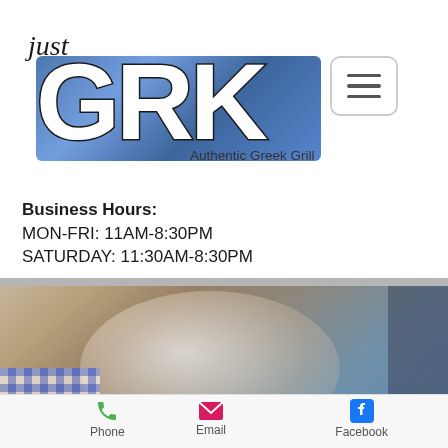[Figure (logo): Just GRK Authentic Greek Grill logo with blue painted letters GRK and italic 'just' handwriting above, with 'Authentic Greek Grill' tagline]
[Figure (other): Hamburger menu icon button with three horizontal lines in a rounded rectangle border]
Business Hours:
MON-FRI: 11AM-8:30PM
SATURDAY: 11:30AM-8:30PM
[Figure (photo): Food photo showing a Greek dish on a plate with blue gingham tablecloth, with an 'Order Now' teal rounded button overlay and a second partially visible teal button below]
[Figure (infographic): Bottom navigation bar with Phone (green phone icon), Email (pink envelope icon), Facebook (blue Facebook icon) links]